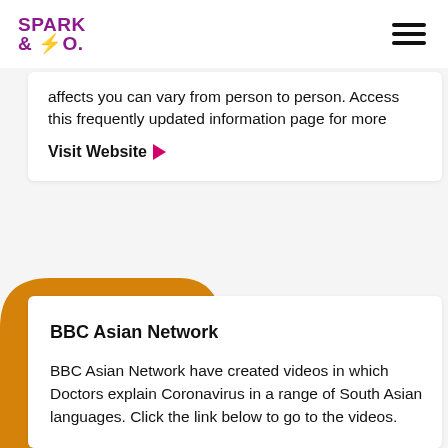SPARK & CO.
affects you can vary from person to person. Access this frequently updated information page for more
Visit Website ▶
BBC Asian Network
BBC Asian Network have created videos in which Doctors explain Coronavirus in a range of South Asian languages. Click the link below to go to the videos.